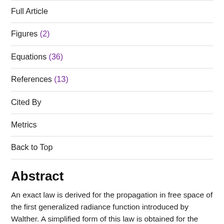Full Article
Figures (2)
Equations (36)
References (13)
Cited By
Metrics
Back to Top
Abstract
An exact law is derived for the propagation in free space of the first generalized radiance function introduced by Walther. A simplified form of this law is obtained for the case when the source is quasi-homogeneous. It is also shown that when the source is quasi-homogeneous and the wave number is large enough (the wavelength is sufficiently short) the first